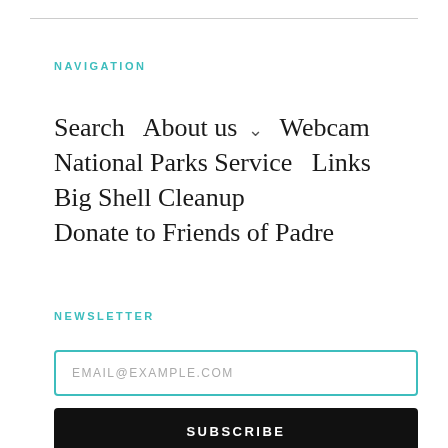NAVIGATION
Search
About us
Webcam
National Parks Service
Links
Big Shell Cleanup
Donate to Friends of Padre
NEWSLETTER
EMAIL@EXAMPLE.COM
SUBSCRIBE